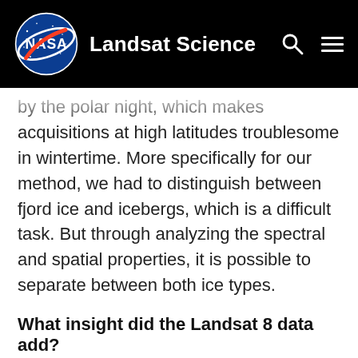Landsat Science
by the polar night, which makes acquisitions at high latitudes troublesome in wintertime. More specifically for our method, we had to distinguish between fjord ice and icebergs, which is a difficult task. But through analyzing the spectral and spatial properties, it is possible to separate between both ice types.
What insight did the Landsat 8 data add?
Instead of only one satellite, we use multiple satellites systems. Because we use several satellites, like Landsat 8, Sentinel-2 and the Planet